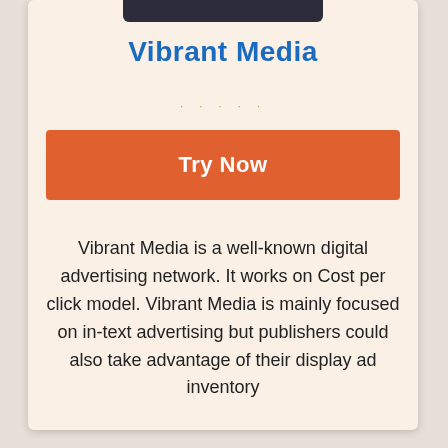[Figure (logo): Dark top bar graphic at the top of the card]
Vibrant Media
· · · · ·
Try Now
Vibrant Media is a well-known digital advertising network. It works on Cost per click model. Vibrant Media is mainly focused on in-text advertising but publishers could also take advantage of their display ad inventory